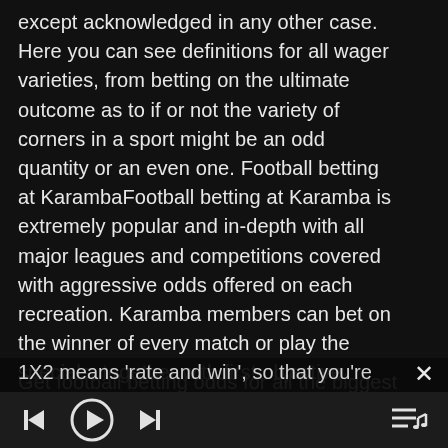except acknowledged in any other case. Here you can see definitions for all wager varieties, from betting on the ultimate outcome as to if or not the variety of corners in a sport might be an odd quantity or an even one. Football betting at KarambaFootball betting at Karamba is extremely popular and in-depth with all major leagues and competitions covered with aggressive odds offered on each recreation. Karamba members can bet on the winner of every match or play the specials, together with first objective scorer and proper score.
Get football betting odds for all the biggest national leagues, continental tournaments and global occasions just like the World Cup with
1X2 means 'rate and win', so that you're simply betting on the matchend result and that